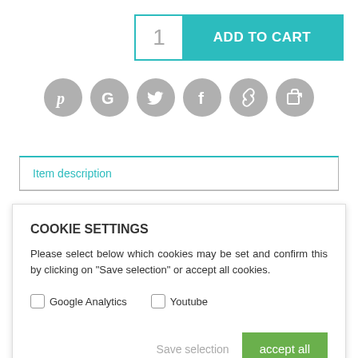[Figure (infographic): Add to Cart button with number 1 and teal background label]
[Figure (infographic): Row of 6 circular grey social sharing icons: Pinterest, Google, Twitter, Facebook, Link, Share/Export]
Item description
COOKIE SETTINGS
Please select below which cookies may be set and confirm this by clicking on "Save selection" or accept all cookies.
Google Analytics
Youtube
Save selection
accept all
Joint can be used for tactical training, for "Shoot until disabled"